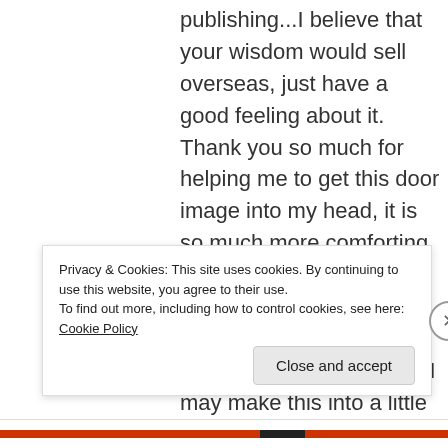publishing...I believe that your wisdom would sell overseas, just have a good feeling about it. Thank you so much for helping me to get this door image into my head, it is so much more comforting than the big black hole I feel I am falling into. It feels less scary, like you said, more like a chance. I may make this into a little motivational poster to put next to my place at the dining table. Thank you so much xxxx
Privacy & Cookies: This site uses cookies. By continuing to use this website, you agree to their use.
To find out more, including how to control cookies, see here: Cookie Policy